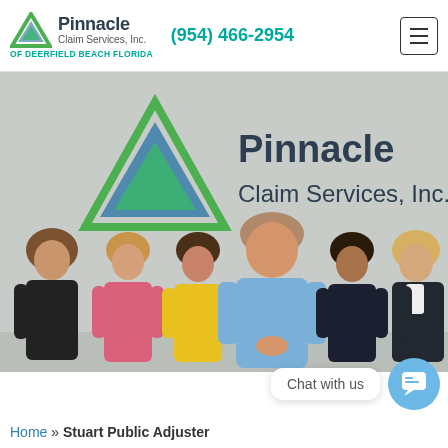Pinnacle Claim Services, Inc. OF DEERFIELD BEACH FLORIDA | (954) 466-2954
[Figure (photo): Group photo of six Pinnacle Claim Services team members standing in front of a wall sign reading 'Pinnacle Claim Services, Inc.' with the company logo (green and blue triangle). From left: woman in black top with curly hair, woman in pink shirt, woman in yellow jacket, man in light blue shirt (center), woman in black polo, woman in white shirt with blazer.]
Chat with us
Home » Stuart Public Adjuster